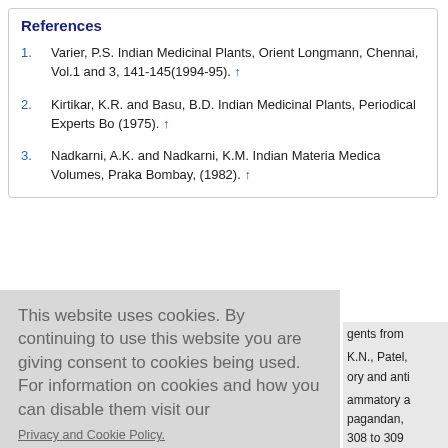References
1. Varier, P.S. Indian Medicinal Plants, Orient Longmann, Chennai, Vol.1 and 3, 141-145(1994-95). ↑
2. Kirtikar, K.R. and Basu, B.D. Indian Medicinal Plants, Periodical Experts Bo... (1975). ↑
3. Nadkarni, A.K. and Nadkarni, K.M. Indian Materia Medica Volumes, Praka... Bombay, (1982). ↑
This website uses cookies. By continuing to use this website you are giving consent to cookies being used. For information on cookies and how you can disable them visit our
Privacy and Cookie Policy.
AGREE & PROCEED